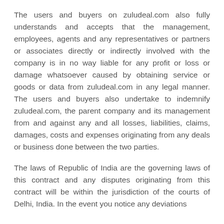The users and buyers on zuludeal.com also fully understands and accepts that the management, employees, agents and any representatives or partners or associates directly or indirectly involved with the company is in no way liable for any profit or loss or damage whatsoever caused by obtaining service or goods or data from zuludeal.com in any legal manner. The users and buyers also undertake to indemnify zuludeal.com, the parent company and its management from and against any and all losses, liabilities, claims, damages, costs and expenses originating from any deals or business done between the two parties.
The laws of Republic of India are the governing laws of this contract and any disputes originating from this contract will be within the jurisdiction of the courts of Delhi, India. In the event you notice any deviations